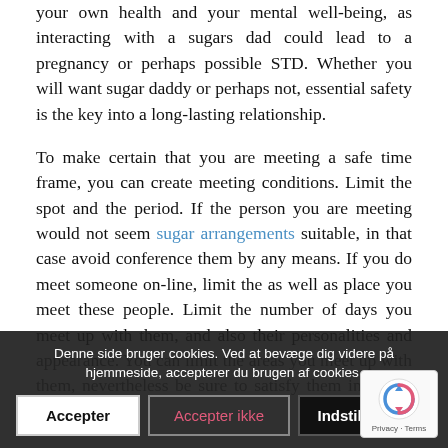your own health and your mental well-being, as interacting with a sugars dad could lead to a pregnancy or perhaps possible STD. Whether you will want sugar daddy or perhaps not, essential safety is the key into a long-lasting relationship.
To make certain that you are meeting a safe time frame, you can create meeting conditions. Limit the spot and the period. If the person you are meeting would not seem sugar arrangements suitable, in that case avoid conference them by any means. If you do meet someone on-line, limit the as well as place you meet these people. Limit the number of days you meet up with them, and also their personalities and appearance. You can limit the areas you meet up with them, nevertheless be sure to satisfy them in public areas.
Denne side bruger cookies. Ved at bevæge dig videre på hjemmeside, accepterer du brugen af cookies.